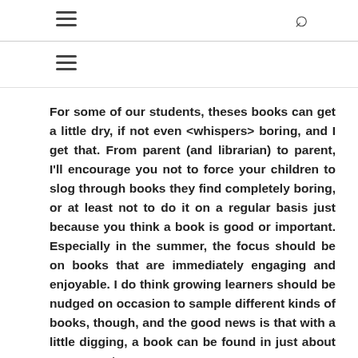[hamburger menu icon] [search icon]
[hamburger menu icon]
For some of our students, theses books can get a little dry, if not even <whispers> boring, and I get that. From parent (and librarian) to parent, I'll encourage you not to force your children to slog through books they find completely boring, or at least not to do it on a regular basis just because you think a book is good or important. Especially in the summer, the focus should be on books that are immediately engaging and enjoyable. I do think growing learners should be nudged on occasion to sample different kinds of books, though, and the good news is that with a little digging, a book can be found in just about any genre to